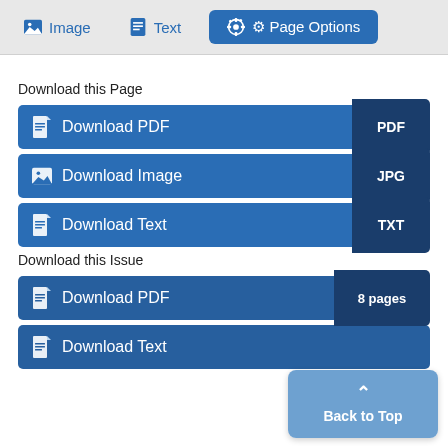Image   Text   Page Options
Download this Page
Download PDF  PDF
Download Image  JPG
Download Text  TXT
Download this Issue
Download PDF  8 pages
Download Text